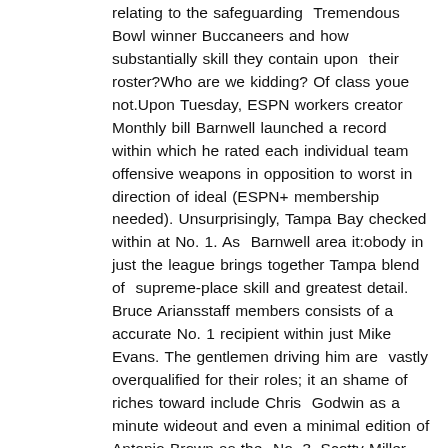relating to the safeguarding  Tremendous Bowl winner Buccaneers and how substantially skill they contain upon  their roster?Who are we kidding? Of class youe not.Upon Tuesday, ESPN workers creator Monthly bill Barnwell launched a record within which he rated each individual team offensive weapons in opposition to worst in direction of ideal (ESPN+ membership needed). Unsurprisingly, Tampa Bay checked within at No. 1. As  Barnwell area it:obody in just the league brings together Tampa blend of  supreme-place skill and greatest detail. Bruce Ariansstaff members consists of a  accurate No. 1 recipient within just Mike Evans. The gentlemen driving him are  vastly overqualified for their roles; it an shame of riches toward include Chris  Godwin as a minute wideout and even a minimal edition of Antonio Brown as the  No. 3. Scotty Miller would be a burgeoning rookie for some